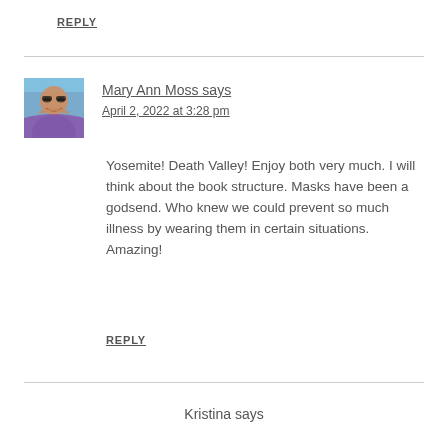REPLY
Mary Ann Moss says
April 2, 2022 at 3:28 pm
Yosemite! Death Valley! Enjoy both very much. I will think about the book structure. Masks have been a godsend. Who knew we could prevent so much illness by wearing them in certain situations. Amazing!
REPLY
Kristina says